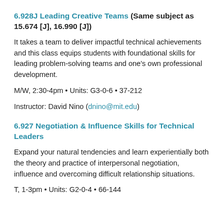6.928J Leading Creative Teams (Same subject as 15.674 [J], 16.990 [J])
It takes a team to deliver impactful technical achievements and this class equips students with foundational skills for leading problem-solving teams and one’s own professional development.
M/W, 2:30-4pm • Units: G3-0-6 • 37-212
Instructor: David Nino (dnino@mit.edu)
6.927 Negotiation & Influence Skills for Technical Leaders
Expand your natural tendencies and learn experientially both the theory and practice of interpersonal negotiation, influence and overcoming difficult relationship situations.
T, 1-3pm • Units: G2-0-4 • 66-144